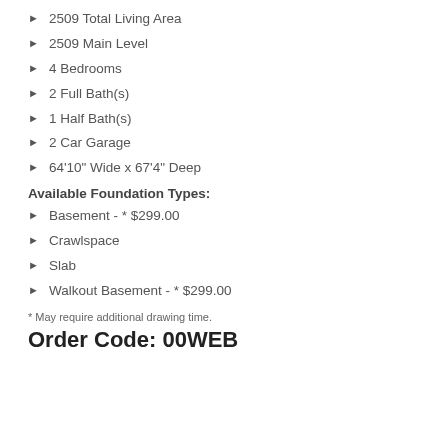2509 Total Living Area
2509 Main Level
4 Bedrooms
2 Full Bath(s)
1 Half Bath(s)
2 Car Garage
64'10" Wide x 67'4" Deep
Available Foundation Types:
Basement - * $299.00
Crawlspace
Slab
Walkout Basement - * $299.00
* May require additional drawing time.
Order Code: 00WEB